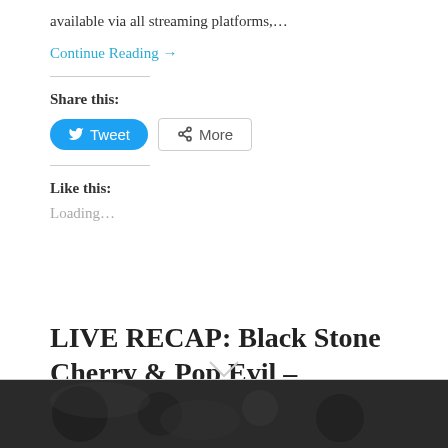available via all streaming platforms,...
Continue Reading →
Share this:
Like this:
Loading...
LIVE RECAP: Black Stone Cherry & Pop Evil – 08/29/21 – Shiley Acres, Inwood, West Virginia
[Figure (photo): Dark decorative image strip at the bottom of the page]